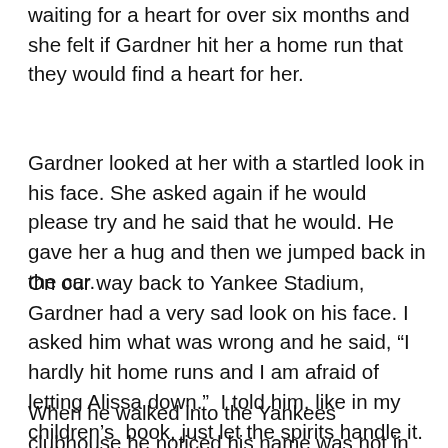waiting for a heart for over six months and she felt if Gardner hit her a home run that they would find a heart for her.
Gardner looked at her with a startled look in his face. She asked again if he would please try and he said that he would. He gave her a hug and then we jumped back in the car.
On our way back to Yankee Stadium, Gardner had a very sad look on his face. I asked him what was wrong and he said, “I hardly hit home runs and I am afraid of letting Alissa down.”  I told him, like in my children’s  book, just let the spirits handle it.
When he walked into the Yankees clubhouse he noticed his name was not in the starting lineup and he really got disappointed because now he was really not going to have a chance to hit a home run.